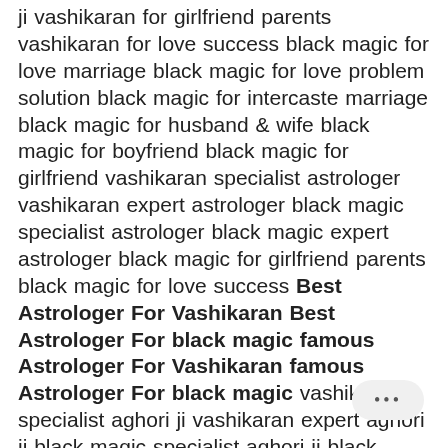ji vashikaran for girlfriend parents vashikaran for love success black magic for love marriage black magic for love problem solution black magic for intercaste marriage black magic for husband & wife black magic for boyfriend black magic for girlfriend vashikaran specialist astrologer vashikaran expert astrologer black magic specialist astrologer black magic expert astrologer black magic for girlfriend parents black magic for love success Best Astrologer For Vashikaran Best Astrologer For black magic famous Astrologer For Vashikaran famous Astrologer For black magic vashikaran specialist aghori ji vashikaran expert aghori ji black magic specialist aghori ji black magic expert aghori ji best vashikaran astrologer baba ji best black magic astrologer baba ji famous vashikaran astrologer baba ji famous black magic astrologer baba ji best astrologer for love back best astrologer for